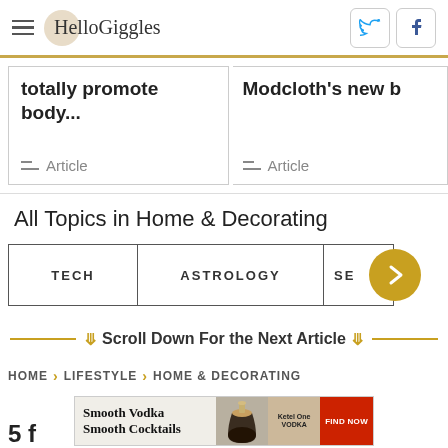HelloGiggles
totally promote body...  Article
Modcloth's new b...  Article
All Topics in Home & Decorating
TECH
ASTROLOGY
SE
Scroll Down For the Next Article
HOME > LIFESTYLE > HOME & DECORATING
[Figure (screenshot): Smooth Vodka Smooth Cocktails advertisement with Ketel One vodka bottle and cocktail glass, Find Now button]
5 f